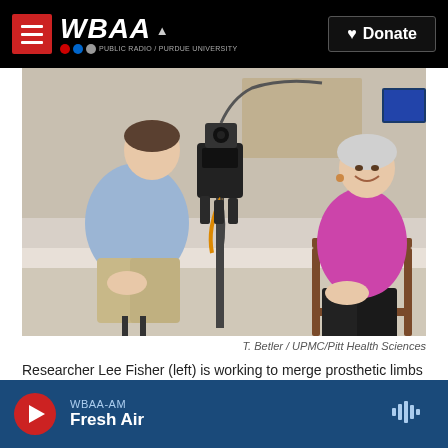WBAA | NPR | Donate
[Figure (photo): Researcher Lee Fisher (left) sitting on a stool facing an elderly woman Pat Bayne (right) who is seated in a chair smiling. Between them is a robotic prosthetic arm device with cables and equipment mounted on a stand. Fisher wears a light blue shirt and khaki pants. Bayne wears a pink top and black pants. They appear to be in a research lab setting.]
T. Betler / UPMC/Pitt Health Sciences
Researcher Lee Fisher (left) is working to merge prosthetic limbs with the nervous system. Pat Bayne (right) says a prototype has partially restored her sense of touch: "I know there's no hand there, but I can feel it."
WBAA-AM Fresh Air